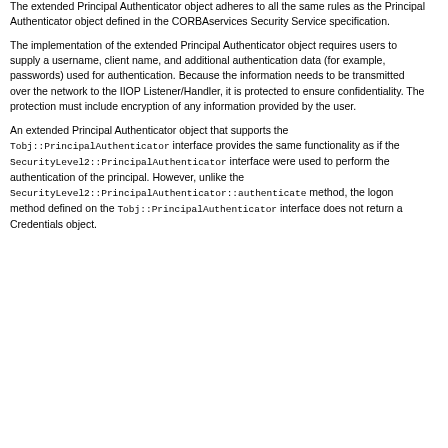function. The interface Tobj::PrincipalAuthenticator is derived from the CORBA SecurityLevel2::PrincipalAuthenticator interface.
The extended Principal Authenticator object adheres to all the same rules as the Principal Authenticator object defined in the CORBAservices Security Service specification.
The implementation of the extended Principal Authenticator object requires users to supply a username, client name, and additional authentication data (for example, passwords) used for authentication. Because the information needs to be transmitted over the network to the IIOP Listener/Handler, it is protected to ensure confidentiality. The protection must include encryption of any information provided by the user.
An extended Principal Authenticator object that supports the Tobj::PrincipalAuthenticator interface provides the same functionality as if the SecurityLevel2::PrincipalAuthenticator interface were used to perform the authentication of the principal. However, unlike the SecurityLevel2::PrincipalAuthenticator::authenticate method, the logon method defined on the Tobj::PrincipalAuthenticator interface does not return a Credentials object.